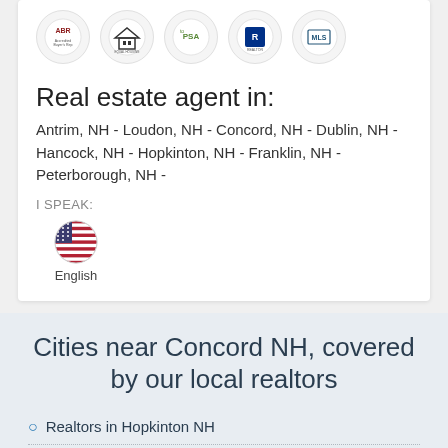[Figure (logo): Row of 5 real estate certification logos in circles: ABR, Equal Housing, toPSA, REALTOR, MLS]
Real estate agent in:
Antrim, NH - Loudon, NH - Concord, NH - Dublin, NH - Hancock, NH - Hopkinton, NH - Franklin, NH - Peterborough, NH -
I SPEAK:
[Figure (illustration): American flag circle icon with label English]
Cities near Concord NH, covered by our local realtors
Realtors in Hopkinton NH
Realtors in Weare NH
Realtors in Henniker NH